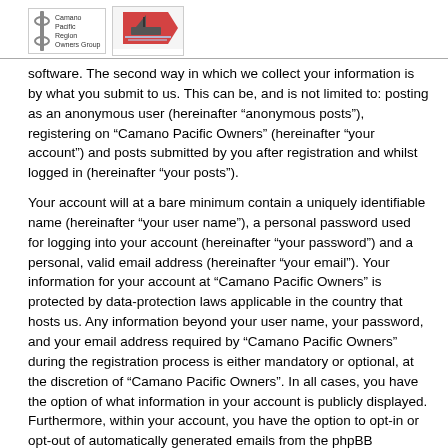Camano Pacific Region Owners Group
software. The second way in which we collect your information is by what you submit to us. This can be, and is not limited to: posting as an anonymous user (hereinafter “anonymous posts”), registering on “Camano Pacific Owners” (hereinafter “your account”) and posts submitted by you after registration and whilst logged in (hereinafter “your posts”).
Your account will at a bare minimum contain a uniquely identifiable name (hereinafter “your user name”), a personal password used for logging into your account (hereinafter “your password”) and a personal, valid email address (hereinafter “your email”). Your information for your account at “Camano Pacific Owners” is protected by data-protection laws applicable in the country that hosts us. Any information beyond your user name, your password, and your email address required by “Camano Pacific Owners” during the registration process is either mandatory or optional, at the discretion of “Camano Pacific Owners”. In all cases, you have the option of what information in your account is publicly displayed. Furthermore, within your account, you have the option to opt-in or opt-out of automatically generated emails from the phpBB software.
Your password is ciphered (a one-way hash) so that it is secure. However, it is recommended that you do not reuse the same password across a number of different websites. Your password is the means of accessing your account at “Camano Pacific Owners”, so please guard it carefully and under no circumstance will anyone affiliated with “Camano Pacific Owners”, phpBB or another 3rd party, legitimately ask you for your password. Should you forget your password...